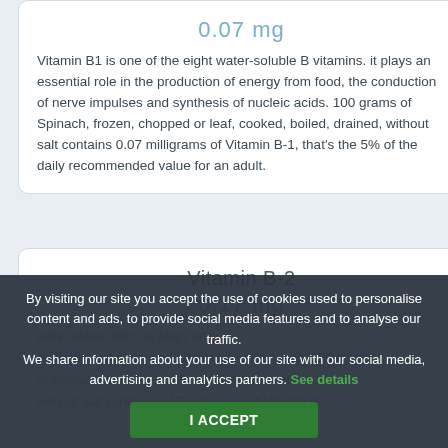0.07 mg
Vitamin B1 is one of the eight water-soluble B vitamins. it plays an essential role in the production of energy from food, the conduction of nerve impulses and synthesis of nucleic acids. 100 grams of Spinach, frozen, chopped or leaf, cooked, boiled, drained, without salt contains 0.07 milligrams of Vitamin B-1, that's the 5% of the daily recommended value for an adult.
Vitamin B-2
0.17 mg
cells, vision, skin, ... also plays an energy metabolism and maintenance of health. 100 grams of Spinach, frozen, cho... ked, boiled, drained, without salt contains 0.17 milligrams of Vitamin B...
By visiting our site you accept the use of cookies used to personalise content and ads, to provide social media features and to analyse our traffic. We share information about your use of our site with our social media, advertising and analytics partners. See details
I ACCEPT